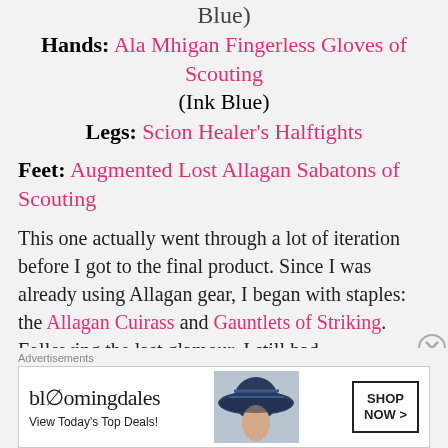Blue)
Hands: Ala Mhigan Fingerless Gloves of Scouting (Ink Blue)
Legs: Scion Healer’s Halftights
Feet: Augmented Lost Allagan Sabatons of Scouting
This one actually went through a lot of iteration before I got to the final product. Since I was already using Allagan gear, I began with staples: the Allagan Cuirass and Gauntlets of Striking. Following the last glamour, I still had
Advertisements
[Figure (other): Bloomingdale's advertisement banner with logo, 'View Today's Top Deals!' tagline, a woman wearing a large hat, and 'SHOP NOW >' button]